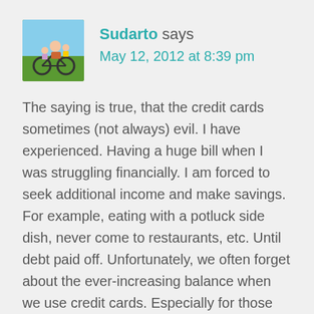[Figure (photo): Avatar photo of a person on a bicycle with children, colorful outdoor scene]
Sudarto says
May 12, 2012 at 8:39 pm
The saying is true, that the credit cards sometimes (not always) evil. I have experienced. Having a huge bill when I was struggling financially. I am forced to seek additional income and make savings. For example, eating with a potluck side dish, never come to restaurants, etc. Until debt paid off. Unfortunately, we often forget about the ever-increasing balance when we use credit cards. Especially for those who have many credit cards.
In addition to the various solutions offered in the article above, we need to cut off some credit